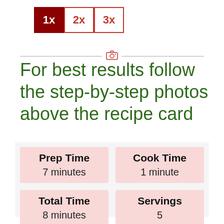[Figure (other): Multiplier selector buttons: 1x (active/dark red), 2x (outlined red), 3x (outlined red)]
For best results follow the step-by-step photos above the recipe card
|  |  |
| --- | --- |
| Prep Time
7 minutes | Cook Time
1 minute |
| Total Time
8 minutes | Servings
5 |